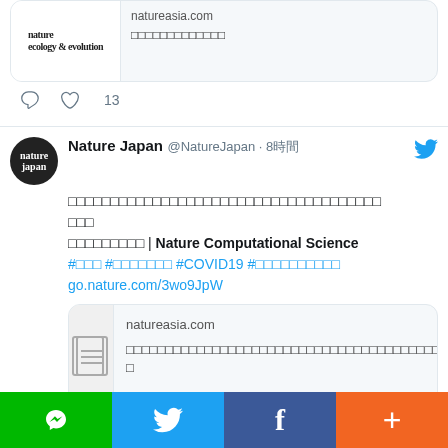[Figure (screenshot): Partial Twitter/social media card showing Nature Ecology & Evolution link preview with natureasia.com domain and Japanese text description, with reply and 13 likes icons below.]
[Figure (screenshot): Twitter post by Nature Japan (@NatureJapan) posted 8 hours ago. Contains Japanese text about Nature Computational Science, hashtags #COVID19 and others in Japanese, and link go.nature.com/3wo9JpW. Card preview shows natureasia.com with Japanese description. 6 likes shown.]
[Figure (screenshot): Bottom navigation bar with LINE (green), Twitter (blue), Facebook (dark blue), and plus/more (orange-red) buttons.]